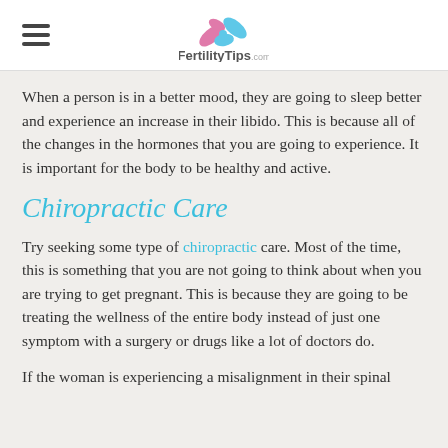FertilityTips.com
When a person is in a better mood, they are going to sleep better and experience an increase in their libido. This is because all of the changes in the hormones that you are going to experience. It is important for the body to be healthy and active.
Chiropractic Care
Try seeking some type of chiropractic care. Most of the time, this is something that you are not going to think about when you are trying to get pregnant. This is because they are going to be treating the wellness of the entire body instead of just one symptom with a surgery or drugs like a lot of doctors do.
If the woman is experiencing a misalignment in their spinal